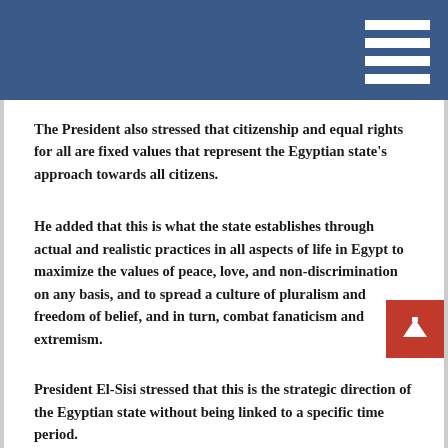The President also stressed that citizenship and equal rights for all are fixed values that represent the Egyptian state's approach towards all citizens.
He added that this is what the state establishes through actual and realistic practices in all aspects of life in Egypt to maximize the values of peace, love, and non-discrimination on any basis, and to spread a culture of pluralism and freedom of belief, and in turn, combat fanaticism and extremism.
President El-Sisi stressed that this is the strategic direction of the Egyptian state without being linked to a specific time period.
For their part, the attendees expressed their happiness to visit